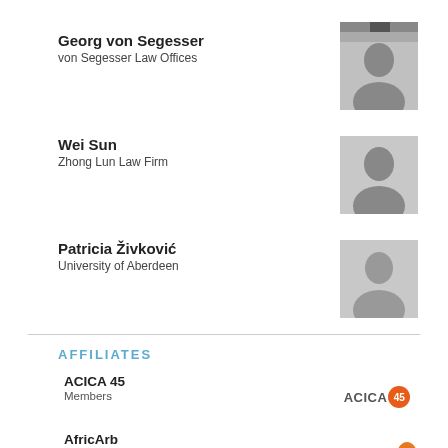[Figure (photo): Partial black and white photo at top right, cropped]
Georg von Segesser
von Segesser Law Offices
[Figure (photo): Black and white headshot of Georg von Segesser]
Wei Sun
Zhong Lun Law Firm
[Figure (photo): Black and white headshot of Wei Sun]
Patricia Živković
University of Aberdeen
[Figure (photo): Black and white headshot of Patricia Živković]
AFFILIATES
ACICA 45
Members
[Figure (logo): ACICA 45 logo with orange circle badge]
AfricArb
Members
[Figure (logo): AfricArb logo in orange and grey text with Africa continent icon]
AIAC Young Practitioners Group (AIAC YPG)
Members
[Figure (logo): AIAC YPG logo]
Arbitrator Intelligence
Affiliates
[Figure (logo): Arbitrator Intelligence logo - blue square with dots pattern]